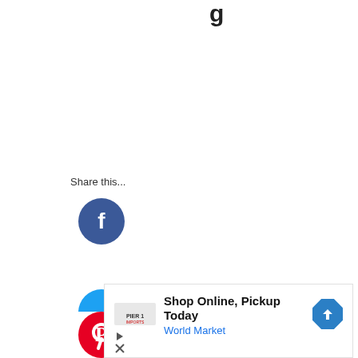g
Share this...
[Figure (logo): Facebook logo circle — dark blue circle with white 'f' letter]
[Figure (logo): Pinterest logo circle — red circle with white 'P' pin icon]
[Figure (logo): Partial blue circle (another social share icon, cut off at bottom)]
[Figure (screenshot): Advertisement banner: 'Shop Online, Pickup Today' with 'World Market' in blue text, a store logo on left, a blue diamond arrow icon on right, and ad controls (play/close) at bottom left]